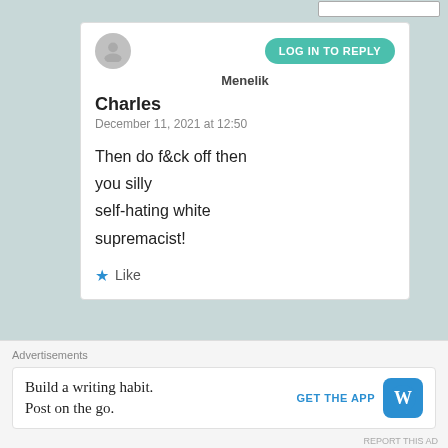Menelik
Charles
December 11, 2021 at 12:50
Then do f&ck off then you silly self-hating white supremacist!
Like
LOG IN TO REPLY
Amaigom
LOG IN TO REPLY
Advertisements
Build a writing habit. Post on the go.
GET THE APP